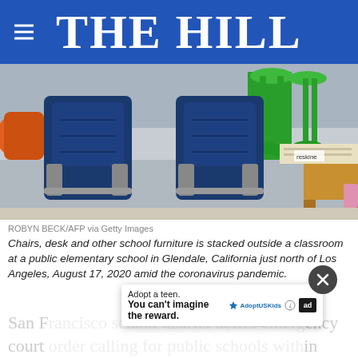THE HILL
[Figure (photo): Classroom chairs and furniture stacked outside, with blue chairs in foreground and green stools in background at an elementary school]
ROBYN BECK/AFP via Getty Images
Chairs, desk and other school furniture is stacked outside a classroom at a public elementary school in Glendale, California just north of Los Angeles, August 17, 2020 amid the coronavirus pandemic.
San F... ency court order calling for public schools with in
[Figure (other): Advertisement popup: Adopt a teen. You can't imagine the reward. AdoptUSKids logo and ad badge.]